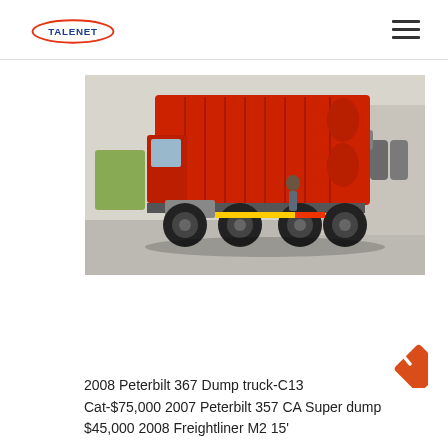TALENET
[Figure (photo): Red dump truck photographed from the rear-side, parked in a yard with industrial barrels and equipment visible in the background.]
2008 Peterbilt 367 Dump truck-C13 Cat-$75,000 2007 Peterbilt 357 CA Super dump $45,000 2008 Freightliner M2 15'